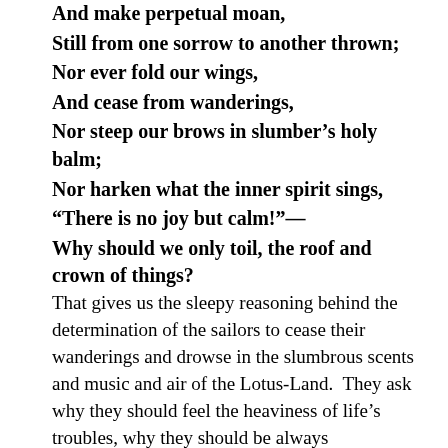And make perpetual moan,
Still from one sorrow to another thrown;
Nor ever fold our wings,
And cease from wanderings,
Nor steep our brows in slumber’s holy balm;
Nor harken what the inner spirit sings,
“There is no joy but calm!”—
Why should we only toil, the roof and crown of things?
That gives us the sleepy reasoning behind the determination of the sailors to cease their wanderings and drowse in the slumbrous scents and music and air of the Lotus-Land.  They ask why they should feel the heaviness of life’s troubles, why they should be always